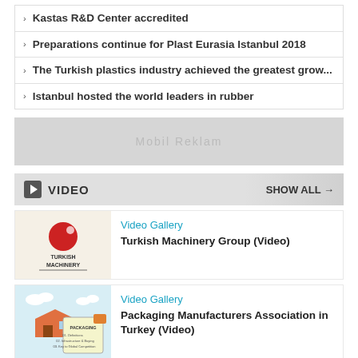Kastas R&D Center accredited
Preparations continue for Plast Eurasia Istanbul 2018
The Turkish plastics industry achieved the greatest grow...
Istanbul hosted the world leaders in rubber
[Figure (other): Mobile advertisement placeholder banner labeled 'Mobil Reklam']
VIDEO   SHOW ALL →
Video Gallery
Turkish Machinery Group (Video)
Video Gallery
Packaging Manufacturers Association in Turkey (Video)
Video Gallery
PAGEV Turkish Plastic Industry Foundation